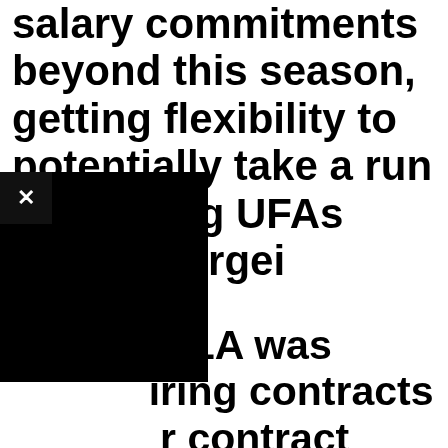salary commitments beyond this season, getting flexibility to potentially take a run at pending UFAs Artemi Sergei Key for FLA was iring contracts r contract players without taking an immediate step back now. – Bob McKenzie (@TSNBobMcKenzie) February 1, 2019
[Figure (other): Black overlay box with close (X) button and video loading circle icon, partially obscuring the text content]